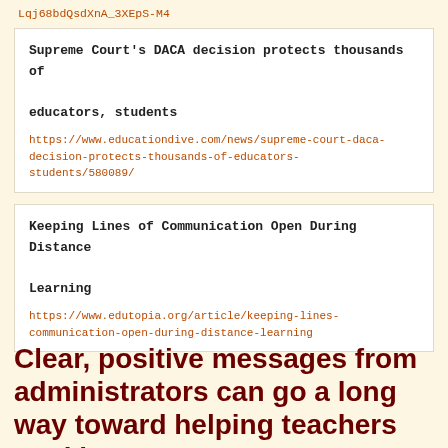Lqj68bdQsdXnA_3XEpS-M4
Supreme Court's DACA decision protects thousands of educators, students
https://www.educationdive.com/news/supreme-court-daca-decision-protects-thousands-of-educators-students/580089/
Keeping Lines of Communication Open During Distance Learning
https://www.edutopia.org/article/keeping-lines-communication-open-during-distance-learning
Clear, positive messages from administrators can go a long way toward helping teachers working